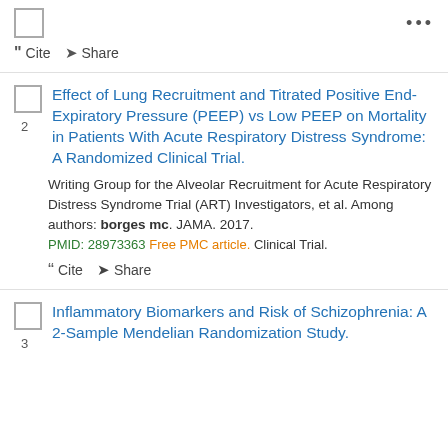Cite  Share
Effect of Lung Recruitment and Titrated Positive End-Expiratory Pressure (PEEP) vs Low PEEP on Mortality in Patients With Acute Respiratory Distress Syndrome: A Randomized Clinical Trial.
Writing Group for the Alveolar Recruitment for Acute Respiratory Distress Syndrome Trial (ART) Investigators, et al. Among authors: borges mc. JAMA. 2017. PMID: 28973363 Free PMC article. Clinical Trial.
Cite  Share
Inflammatory Biomarkers and Risk of Schizophrenia: A 2-Sample Mendelian Randomization Study.